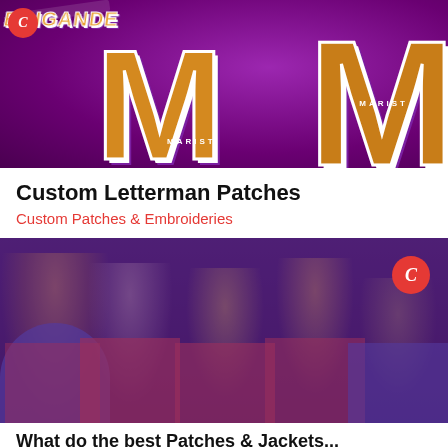[Figure (photo): Photo of custom letterman patches with gold 'M' letters and 'MARIST' text on a purple background, with a red circular logo in the top-left corner]
Custom Letterman Patches
Custom Patches & Embroideries
[Figure (photo): Photo of a group of five people wearing colorful winter hats and jackets (blue and red satin), smiling at camera, with a red circular logo overlay in the top-right corner]
What do the best Patches & Jackets...